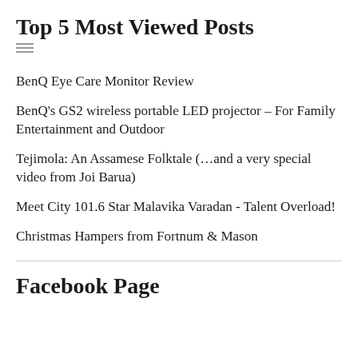Top 5 Most Viewed Posts
BenQ Eye Care Monitor Review
BenQ's GS2 wireless portable LED projector – For Family Entertainment and Outdoor
Tejimola: An Assamese Folktale (…and a very special video from Joi Barua)
Meet City 101.6 Star Malavika Varadan - Talent Overload!
Christmas Hampers from Fortnum & Mason
Facebook Page